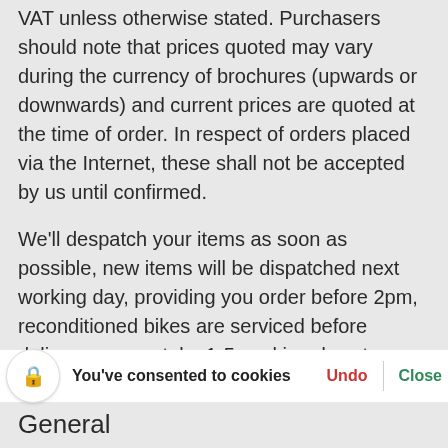VAT unless otherwise stated. Purchasers should note that prices quoted may vary during the currency of brochures (upwards or downwards) and current prices are quoted at the time of order. In respect of orders placed via the Internet, these shall not be accepted by us until confirmed.
We'll despatch your items as soon as possible, new items will be dispatched next working day, providing you order before 2pm, reconditioned bikes are serviced before delivery so may take 1-5 working days to dispatch. We'll make sure this is clear to you when you add your items to the basket, and you will be able to see an accurate delivery estimate in the checkout. If you're unsure, you can always get in touch by calling 07536 171 or e
[Figure (screenshot): Cookie consent bar overlay showing a lock icon in a circle, bold text 'You've consented to cookies', red 'Undo' link, and green 'Close' link.]
General